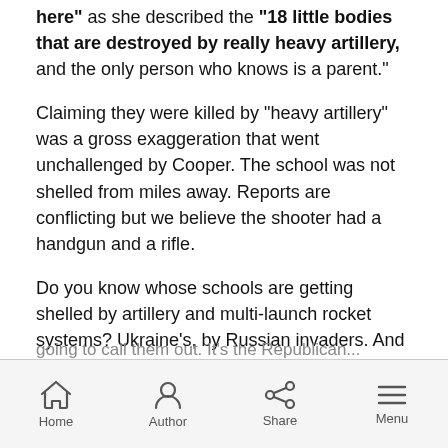here" as she described the "18 little bodies that are destroyed by really heavy artillery, and the only person who knows is a parent."
Claiming they were killed by “heavy artillery” was a gross exaggeration that went unchallenged by Cooper. The school was not shelled from miles away. Reports are conflicting but we believe the shooter had a handgun and a rifle.
Do you know whose schools are getting shelled by artillery and multi-launch rocket systems? Ukraine’s, by Russian invaders. And Cooper should have known better since he’s been there recently.
Home  Author  Share  Menu
going to call them out. It’s the Republican...